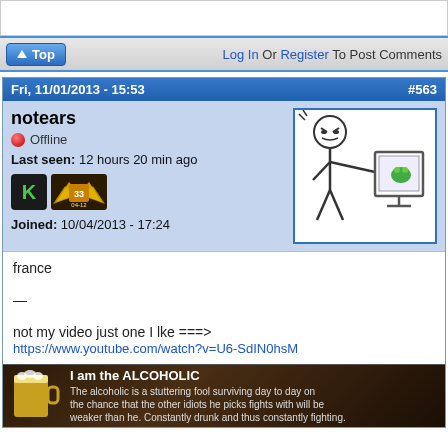[Figure (screenshot): White top bar area]
Top   Log In Or Register To Post Comments
Fri, 11/01/2013 - 15:53   #563
notears
🔴 Offline
Last seen: 12 hours 20 min ago
[Figure (illustration): Stick figure rage meme looking at computer screen]
Joined: 10/04/2013 - 17:24
france

—

not my video just one I lke ===>
https://www.youtube.com/watch?v=U6-SdIN0hsM
[Figure (photo): I am the ALCOHOLIC banner image with beer mug and dark background. Text: The alcoholic is a stuttering fool surviving day to day on the chance that the other idiots he picks fights with will be weaker than he. Constantly drunk and thus constantly fighting.]